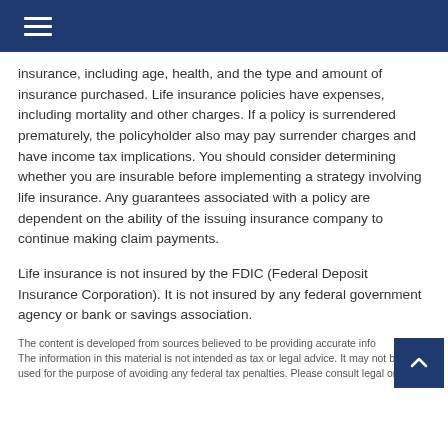≡
insurance, including age, health, and the type and amount of insurance purchased. Life insurance policies have expenses, including mortality and other charges. If a policy is surrendered prematurely, the policyholder also may pay surrender charges and have income tax implications. You should consider determining whether you are insurable before implementing a strategy involving life insurance. Any guarantees associated with a policy are dependent on the ability of the issuing insurance company to continue making claim payments.
Life insurance is not insured by the FDIC (Federal Deposit Insurance Corporation). It is not insured by any federal government agency or bank or savings association.
The content is developed from sources believed to be providing accurate info The information in this material is not intended as tax or legal advice. It may not be used for the purpose of avoiding any federal tax penalties. Please consult legal or tax